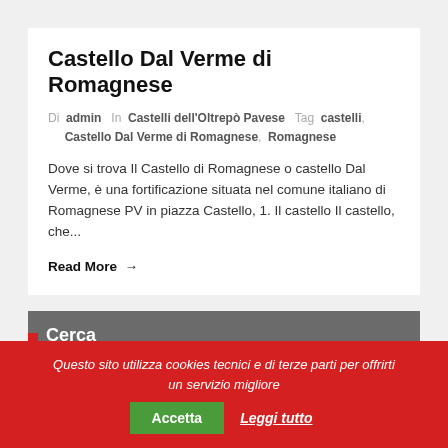Castello Dal Verme di Romagnese
Di admin In Castelli dell'Oltrepò Pavese Tag castelli, Castello Dal Verme di Romagnese, Romagnese
Dove si trova Il Castello di Romagnese o castello Dal Verme, è una fortificazione situata nel comune italiano di Romagnese PV in piazza Castello, 1. Il castello Il castello, che...
Read More →
Cerca
Questo sito utilizza cookies tecnici e di terze parti per offrirti un servizio migliore
Accetta
Leggi tutto